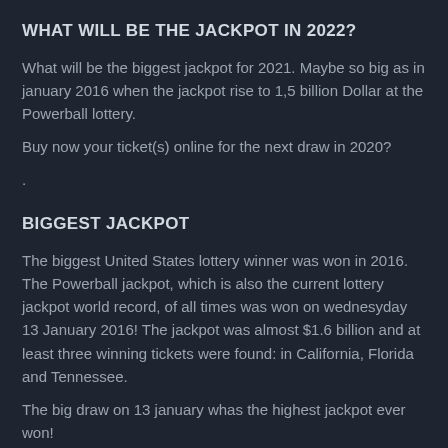WHAT WILL BE THE JACKPOT IN 2022?
What will be the biggest jackpot for 2021. Maybe so big as in january 2016 when the jackpot rise to 1,5 billion Dollar at the Powerball lottery.
Buy now your ticket(s) online for the next draw in 2020?
.
BIGGEST JACKPOT
The biggest United States lottery winner was won in 2016. The Powerball jackpot, which is also the current lottery jackpot world record, of all times was won on wednesyday 13 January 2016! The jackpot was almost $1.6 billion and at least three winning tickets were found: in California, Florida and Tennessee.
The big draw on 13 january whas the highest jackpot ever won!